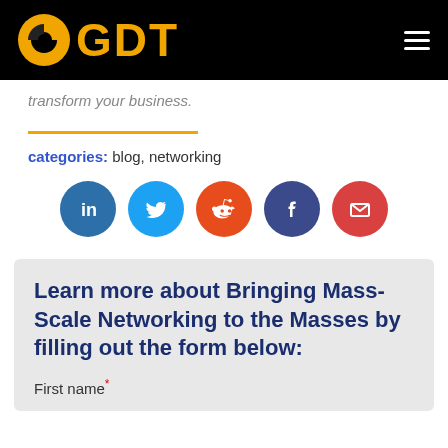GDT logo and navigation
transform your business.
categories: blog, networking
[Figure (infographic): Five social media share icons in circles: LinkedIn (blue), Twitter (light blue), Reddit (orange-red), Facebook (dark blue), Email (red)]
Learn more about Bringing Mass-Scale Networking to the Masses by filling out the form below:
First name*